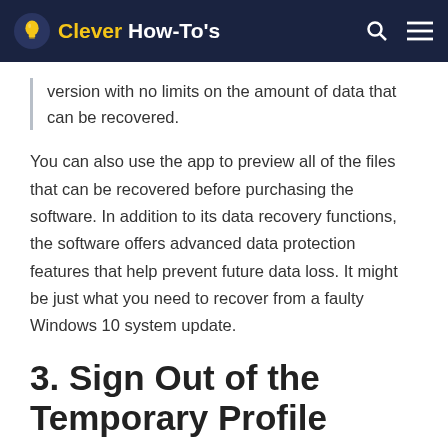Clever How-To's
version with no limits on the amount of data that can be recovered.
You can also use the app to preview all of the files that can be recovered before purchasing the software. In addition to its data recovery functions, the software offers advanced data protection features that help prevent future data loss. It might be just what you need to recover from a faulty Windows 10 system update.
3. Sign Out of the Temporary Profile
Following an update, Windows may log you into a